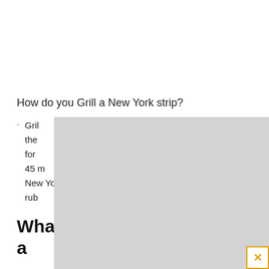How do you Grill a New York strip?
Grill the meat with the ... tes total for ... oximately 45 m... our New Yor... dge and rub... pepper.
Wha... l a